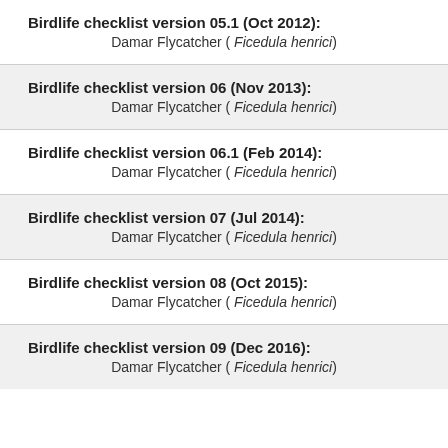Birdlife checklist version 05.1 (Oct 2012): Damar Flycatcher ( Ficedula henrici)
Birdlife checklist version 06 (Nov 2013): Damar Flycatcher ( Ficedula henrici)
Birdlife checklist version 06.1 (Feb 2014): Damar Flycatcher ( Ficedula henrici)
Birdlife checklist version 07 (Jul 2014): Damar Flycatcher ( Ficedula henrici)
Birdlife checklist version 08 (Oct 2015): Damar Flycatcher ( Ficedula henrici)
Birdlife checklist version 09 (Dec 2016): Damar Flycatcher ( Ficedula henrici)